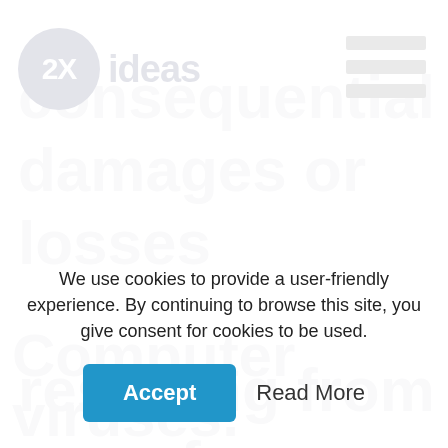[Figure (logo): 2X ideas logo: dark navy circle with '2X' in white, followed by 'ideas' in dark navy bold text]
[Figure (other): Hamburger menu icon: three dark gray horizontal bars]
consequential damages or losses resulting from use of the documents or information on the website.
We use cookies to provide a user-friendly experience. By continuing to browse this site, you give consent for cookies to be used.
Accept
Read More
Computer viruses.